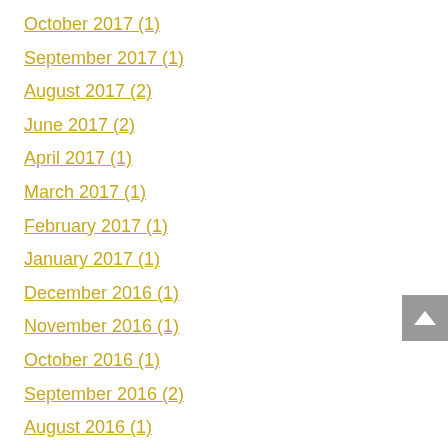October 2017 (1)
September 2017 (1)
August 2017 (2)
June 2017 (2)
April 2017 (1)
March 2017 (1)
February 2017 (1)
January 2017 (1)
December 2016 (1)
November 2016 (1)
October 2016 (1)
September 2016 (2)
August 2016 (1)